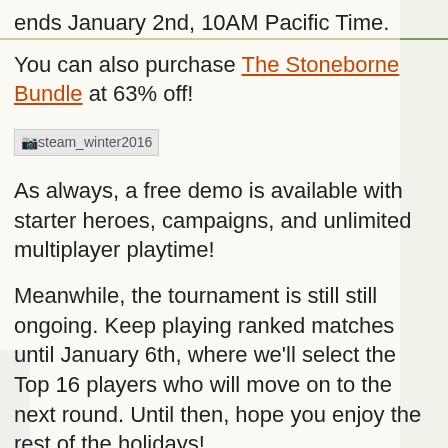ends January 2nd, 10AM Pacific Time.
You can also purchase The Stoneborne Bundle at 63% off!
[Figure (other): Steam Winter 2016 sale badge image placeholder labeled 'steam_winter2016']
As always, a free demo is available with starter heroes, campaigns, and unlimited multiplayer playtime!
Meanwhile, the tournament is still still ongoing. Keep playing ranked matches until January 6th, where we'll select the Top 16 players who will move on to the next round. Until then, hope you enjoy the rest of the holidays!
[Figure (other): Facebook Christmas location image placeholder labeled 'loc_fb_christmas']
For comments and suggestions, drop by our Discord server and watch our livestreams on Twitch. You can also email us at